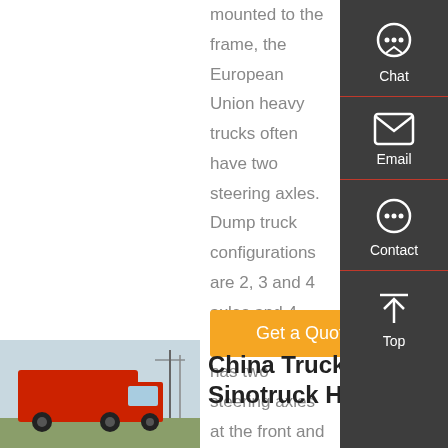mounted to the frame, the European Union heavy trucks often have two steering axles. Dump truck configurations are 2, 3 and 4 axles and 4-axle 8-wheel has two steering axles at the front and two powered axles at the rear and is limited to 32 metric tonnes (35 short tonnes, 31 long tonnes).
[Figure (screenshot): Get a Quote orange button]
[Figure (photo): Red Sinotruck Howo truck parked]
China Trucks, Sinotruck Howo
[Figure (infographic): Right sidebar with Chat, Email, Contact, Top navigation icons on dark background]